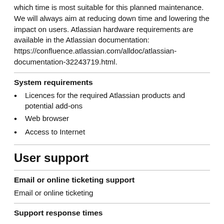which time is most suitable for this planned maintenance. We will always aim at reducing down time and lowering the impact on users. Atlassian hardware requirements are available in the Atlassian documentation: https://confluence.atlassian.com/alldoc/atlassian-documentation-32243719.html.
System requirements
Licences for the required Atlassian products and potential add-ons
Web browser
Access to Internet
User support
Email or online ticketing support
Email or online ticketing
Support response times